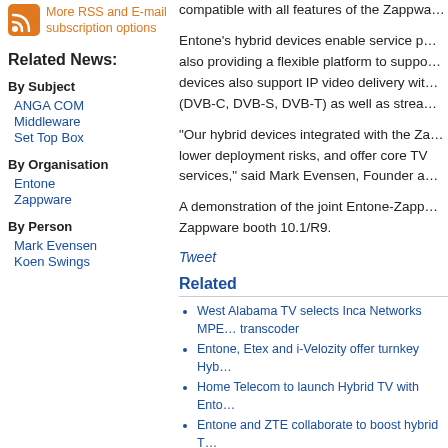[Figure (logo): Orange RSS feed icon]
More RSS and E-mail subscription options
Related News:
By Subject
ANGA COM
Middleware
Set Top Box
By Organisation
Entone
Zappware
By Person
Mark Evensen
Koen Swings
compatible with all features of the Zappwa...
Entone's hybrid devices enable service p... also providing a flexible platform to suppo... devices also support IP video delivery wit... (DVB-C, DVB-S, DVB-T) as well as strea...
“Our hybrid devices integrated with the Za... lower deployment risks, and offer core TV services,” said Mark Evensen, Founder a...
A demonstration of the joint Entone-Zapp... Zappware booth 10.1/R9.
Tweet
Related
West Alabama TV selects Inca Networks MPE... transcoder
Entone, Etex and i-Velozity offer turnkey Hyb...
Home Telecom to launch Hybrid TV with Ento...
Entone and ZTE collaborate to boost hybrid T...
Three River selects Entone Hybrid CATV solu...